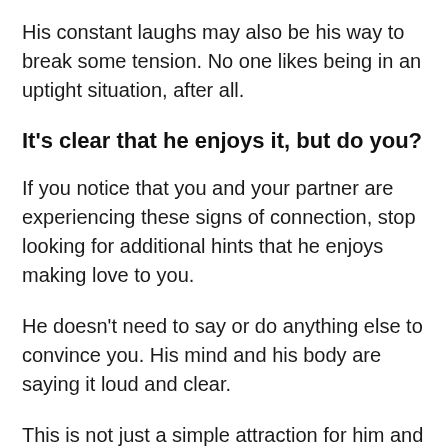His constant laughs may also be his way to break some tension. No one likes being in an uptight situation, after all.
It's clear that he enjoys it, but do you?
If you notice that you and your partner are experiencing these signs of connection, stop looking for additional hints that he enjoys making love to you.
He doesn't need to say or do anything else to convince you. His mind and his body are saying it loud and clear.
This is not just a simple attraction for him and not "just sex". He thoroughly enjoys making love to you...